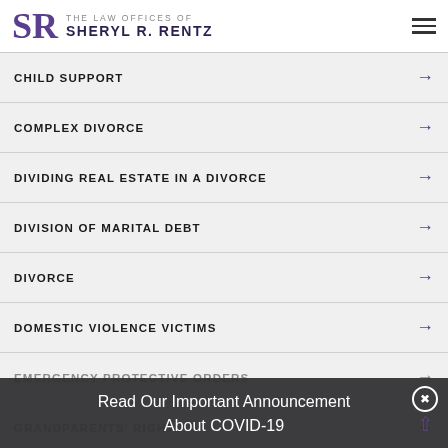THE LAW OFFICES OF SHERYL R. RENTZ
CHILD SUPPORT
COMPLEX DIVORCE
DIVIDING REAL ESTATE IN A DIVORCE
DIVISION OF MARITAL DEBT
DIVORCE
DOMESTIC VIOLENCE VICTIMS
EMERGENCY PROTECTIVE ORDERS
GRANDPARENTS' RIGHTS
Read Our Important Announcement About COVID-19